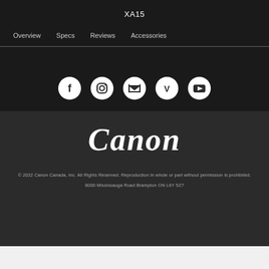XA15
Overview   Specs   Reviews   Accessories
[Figure (illustration): Five social media icon circles (Facebook, Instagram, Twitter, Vimeo, YouTube) in white on dark background]
[Figure (logo): Canon brand logo in white italic serif text on dark background]
© 2022 Canon Canada, Inc. All Rights Reserved. Reproduction in whole or part without permission is prohibited. 8000 Mississauga Road Brampton ON L6Y 5Z7